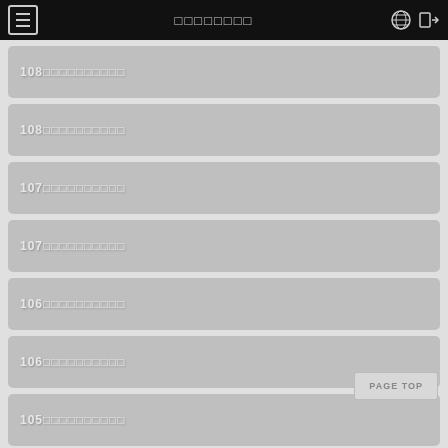≡ ｜ □□□□□□□□ ｜ 🌐 ➔
108□□□□□□□□□□
108□□□□□□□□□□
107□□□□□□□□□□
107□□□□□□□□□□
106□□□□□□□□□□
106□□□□□□□□□□
105□□□□□□□□□□
105□□□□□□□□□□
104□□□□□□□□□□